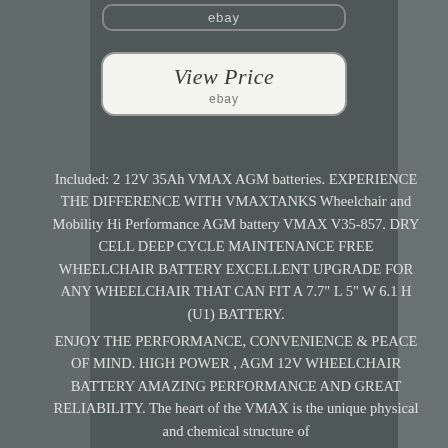[Figure (screenshot): eBay listing screenshot showing a 'View Price' button with ebay label and product description text for VMAX AGM wheelchair batteries on a dark gray background]
Included: 2 12V 35Ah VMAX AGM batteries. EXPERIENCE THE DIFFERENCE WITH VMAXTANKS Wheelchair and Mobility Hi Performance AGM battery VMAX V35-857. DRY CELL DEEP CYCLE MAINTENANCE FREE WHEELCHAIR BATTERY EXCELLENT UPGRADE FOR ANY WHEELCHAIR THAT CAN FIT A 7.7" L 5" W 6.1 H (U1) BATTERY.
ENJOY THE PERFORMANCE, CONVENIENCE & PEACE OF MIND. HIGH POWER , AGM 12V WHEELCHAIR BATTERY AMAZING PERFORMANCE AND GREAT RELIABILITY. The heart of the VMAX is the unique physical and chemical structure of